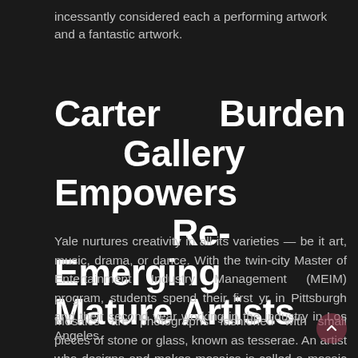incessantly considered each a performing artwork and a fantastic artwork.
Carter Burden Gallery Empowers Re-Emerging Mature Artists
Yale nurtures creativity in all its varieties — be it art, music, drama, or dance. With the twin-city Master of Entertainment Industry Management (MEIM) program, students spend their first yr in Pittsburgh and their second year working in the industry in Los Angeles.
Mosaics are photographs fashioned with small pieces of stone or glass, known as tesserae. An artist who designs and makes mosaics is called a mosaic artist